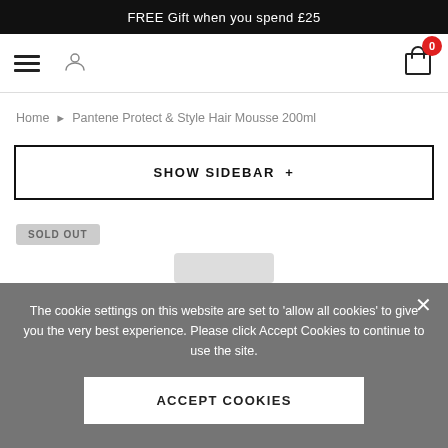FREE Gift when you spend £25
[Figure (screenshot): Navigation bar with hamburger menu, user icon, and cart icon showing 0 items]
Home ▶ Pantene Protect & Style Hair Mousse 200ml
SHOW SIDEBAR +
SOLD OUT
The cookie settings on this website are set to 'allow all cookies' to give you the very best experience. Please click Accept Cookies to continue to use the site.
ACCEPT COOKIES